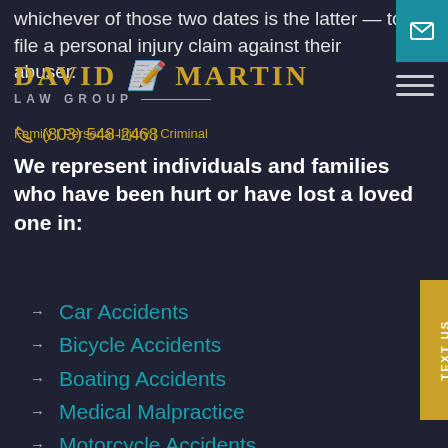whichever of those two dates is the latter — to file a personal injury claim against their abuser.
[Figure (logo): David W Martin Law Group logo with gold text and decorative slash]
Family | Personal Injury | Criminal
(803) 548-2468
We represent individuals and families who have been hurt or have lost a loved one in:
Car Accidents
Bicycle Accidents
Boating Accidents
Medical Malpractice
Motorcycle Accidents
Nursing Home Negligence
Pedestrian Accident
Dog Bites
Slip and Fall Accidents
Employment Sexual Abuse